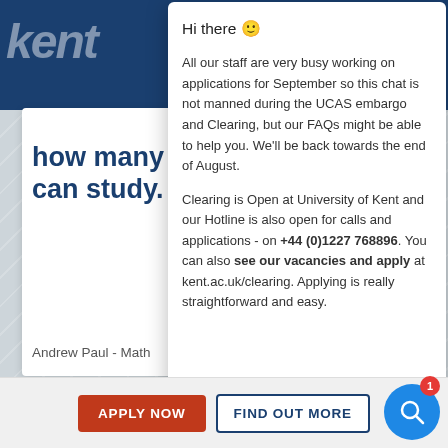[Figure (screenshot): University of Kent website screenshot showing a chat popup overlay. Background shows dark blue header with Kent logo, white card with bold blue headline 'how many can study.' and attribution 'Andrew Paul - Math'. Foreground shows a live chat popup panel with greeting and message about UCAS embargo and Clearing. Bottom bar has orange 'APPLY NOW' button, outlined 'FIND OUT MORE' button, and blue search circle with notification badge.]
Hi there 🙂
All our staff are very busy working on applications for September so this chat is not manned during the UCAS embargo and Clearing, but our FAQs might be able to help you. We'll be back towards the end of August.
Clearing is Open at University of Kent and our Hotline is also open for calls and applications - on +44 (0)1227 768896. You can also see our vacancies and apply at kent.ac.uk/clearing. Applying is really straightforward and easy.
how many can study.
Andrew Paul - Math
APPLY NOW
FIND OUT MORE